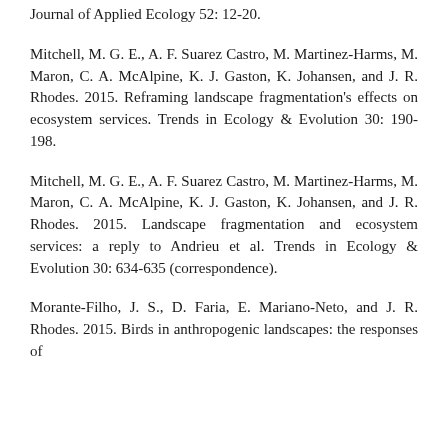Journal of Applied Ecology 52: 12-20.
Mitchell, M. G. E., A. F. Suarez Castro, M. Martinez-Harms, M. Maron, C. A. McAlpine, K. J. Gaston, K. Johansen, and J. R. Rhodes. 2015. Reframing landscape fragmentation's effects on ecosystem services. Trends in Ecology & Evolution 30: 190-198.
Mitchell, M. G. E., A. F. Suarez Castro, M. Martinez-Harms, M. Maron, C. A. McAlpine, K. J. Gaston, K. Johansen, and J. R. Rhodes. 2015. Landscape fragmentation and ecosystem services: a reply to Andrieu et al. Trends in Ecology & Evolution 30: 634-635 (correspondence).
Morante-Filho, J. S., D. Faria, E. Mariano-Neto, and J. R. Rhodes. 2015. Birds in anthropogenic landscapes: the responses of